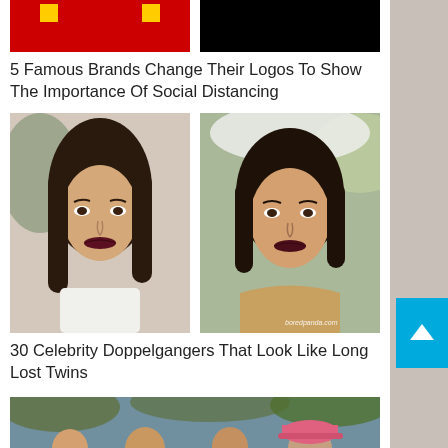[Figure (photo): Two brand logo images side by side: left image shows a red background with two yellow squares (McDonald's logo separated for social distancing), right image shows a black background (another brand logo).]
5 Famous Brands Change Their Logos To Show The Importance Of Social Distancing
[Figure (photo): Two photos of young women side by side who look alike as celebrity doppelgangers. Left: woman with long dark hair in white top indoors. Right: woman with shorter dark hair in gold/beige top at an event. Watermark reads boredpanda.com.]
30 Celebrity Doppelgangers That Look Like Long Lost Twins
[Figure (photo): Photo of four people seen from behind near a pool, showing sunburn patterns on their backs. One person on the right wears a pink baseball cap.]